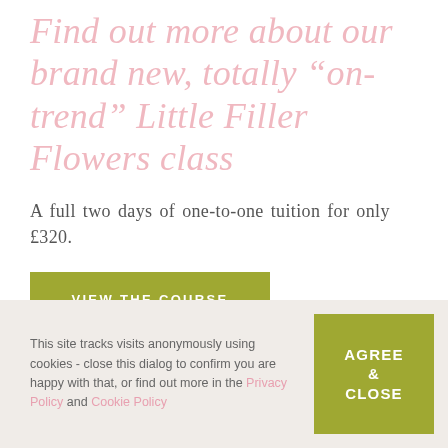Find out more about our brand new, totally "on-trend" Little Filler Flowers class
A full two days of one-to-one tuition for only £320.
VIEW THE COURSE
This site tracks visits anonymously using cookies - close this dialog to confirm you are happy with that, or find out more in the Privacy Policy and Cookie Policy
AGREE & CLOSE